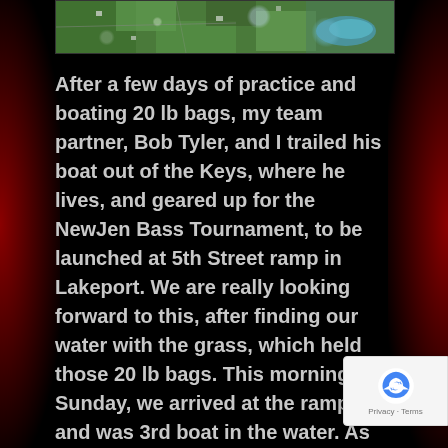[Figure (photo): Satellite/aerial map view showing terrain with green vegetation and water bodies, displayed as a banner at the top of the page.]
After a few days of practice and boating 20 lb bags, my team partner, Bob Tyler, and I trailed his boat out of the Keys, where he lives, and geared up for the NewJen Bass Tournament, to be launched at 5th Street ramp in Lakeport. We are really looking forward to this, after finding our water with the grass, which held those 20 lb bags. This morning, Sunday, we arrived at the ramp, and was 3rd boat in the water. As we sat out in the dark awaiting the rest of the anglers, that’s when the nice calm serene morning turned into the opening of hell. had thunder and lightning all over the lak and some directly above us, it was quite an